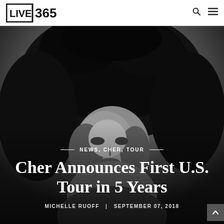LIVE 365
[Figure (photo): Black and white portrait photo of Cher with voluminous curly dark hair, looking at the camera, partially shadowed background]
NEWS, CHER, TOUR
Cher Announces First U.S. Tour in 5 Years
MICHELLE RUOFF | SEPTEMBER 07, 2018